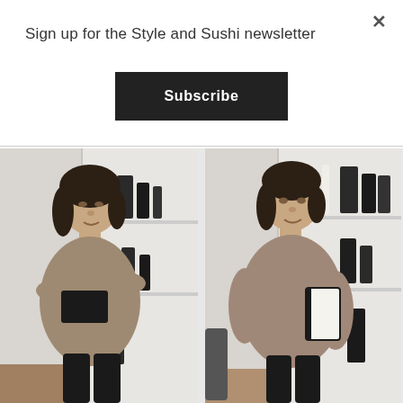Sign up for the Style and Sushi newsletter
Subscribe
[Figure (photo): Two side-by-side photos of the same young woman with short dark hair wearing a tan/brown oversized sweater, holding a black notebook/tablet. Left photo: arms crossed. Right photo: holding book at side, smiling toward camera. Background is a white shelving unit with dark objects.]